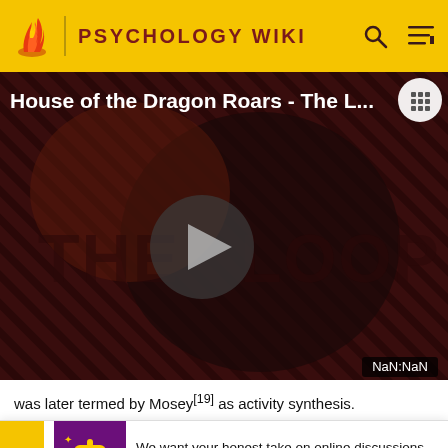PSYCHOLOGY WIKI
[Figure (screenshot): Video thumbnail showing 'House of the Dragon Roars - The L...' with THE LOOP branding, dark red diagonal striped background, large play button in center, NaN:NaN timestamp]
was later termed by Mosey[19] as activity synthesis.
Activi... re of occu... s, in collab... to produ...
[Figure (infographic): Survey banner: We want your honest take on online discussions. SURVEY: ONLINE FORUMS]
SURVEY: ONLINE FORUMS